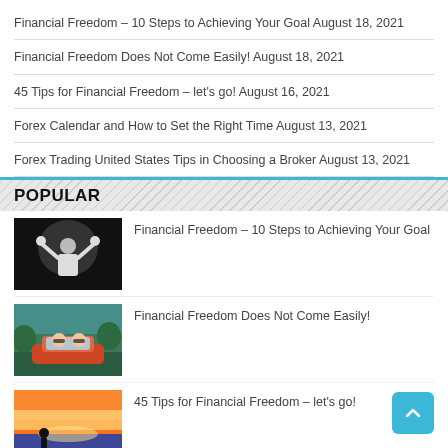Financial Freedom – 10 Steps to Achieving Your Goal August 18, 2021
Financial Freedom Does Not Come Easily! August 18, 2021
45 Tips for Financial Freedom – let's go! August 16, 2021
Forex Calendar and How to Set the Right Time August 13, 2021
Forex Trading United States Tips in Choosing a Broker August 13, 2021
POPULAR
[Figure (photo): Woman in white shirt with hands raised holding something, dark background]
Financial Freedom – 10 Steps to Achieving Your Goal
[Figure (photo): Women in a convertible car, outdoor scene with green trees]
Financial Freedom Does Not Come Easily!
[Figure (photo): Person at waterfront with sunset sky]
45 Tips for Financial Freedom – let's go!